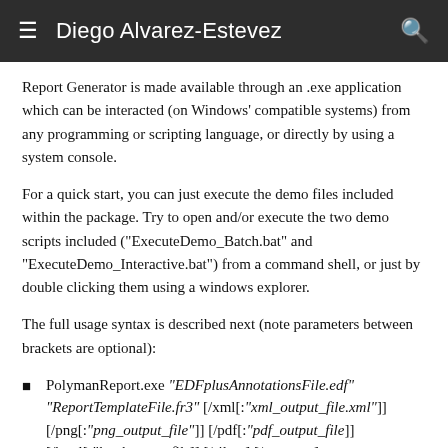Diego Alvarez-Estevez
Report Generator is made available through an .exe application which can be interacted (on Windows' compatible systems) from any programming or scripting language, or directly by using a system console.
For a quick start, you can just execute the demo files included within the package. Try to open and/or execute the two demo scripts included ("ExecuteDemo_Batch.bat" and "ExecuteDemo_Interactive.bat") from a command shell, or just by double clicking them using a windows explorer.
The full usage syntax is described next (note parameters between brackets are optional):
PolymanReport.exe "EDFplusAnnotationsFile.edf" "ReportTemplateFile.fr3" [/xml[:"xml_output_file.xml"]] [/png[:"png_output_file"]] [/pdf[:"pdf_output_file]] [/html[:"html output file]] [/silent] [/compact]